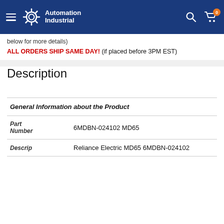Automation Industrial
below for more details)
ALL ORDERS SHIP SAME DAY! (if placed before 3PM EST)
Description
| Field | Value |
| --- | --- |
| General Information about the Product |  |
| Part Number | 6MDBN-024102 MD65 |
| Descrip | Reliance Electric MD65 6MDBN-024102 |